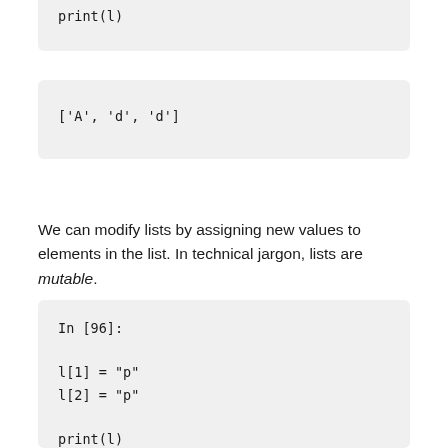print(l)
['A', 'd', 'd']
We can modify lists by assigning new values to elements in the list. In technical jargon, lists are mutable.
In [96]:

l[1] = "p"
l[2] = "p"

print(l)